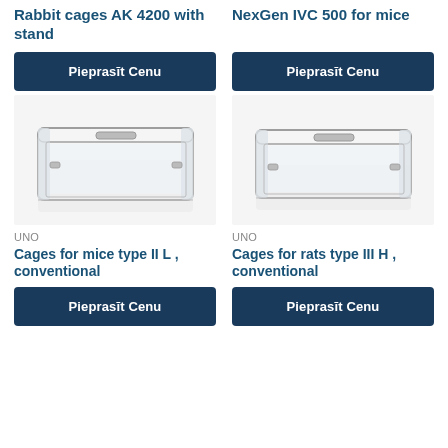Rabbit cages AK 4200 with stand
NexGen IVC 500 for mice
Pieprasīt Cenu
Pieprasīt Cenu
[Figure (photo): Clear transparent rectangular animal cage/container - Cages for mice type II L, conventional]
[Figure (photo): Clear transparent rectangular animal cage/container - Cages for rats type III H, conventional]
UNO
Cages for mice type II L , conventional
UNO
Cages for rats type III H , conventional
Pieprasīt Cenu
Pieprasīt Cenu